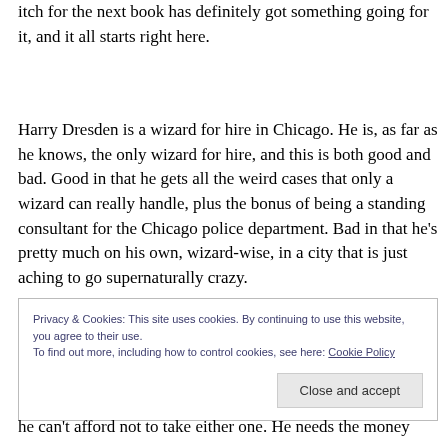itch for the next book has definitely got something going for it, and it all starts right here.
Harry Dresden is a wizard for hire in Chicago. He is, as far as he knows, the only wizard for hire, and this is both good and bad. Good in that he gets all the weird cases that only a wizard can really handle, plus the bonus of being a standing consultant for the Chicago police department. Bad in that he's pretty much on his own, wizard-wise, in a city that is just aching to go supernaturally crazy.
Privacy & Cookies: This site uses cookies. By continuing to use this website, you agree to their use.
To find out more, including how to control cookies, see here: Cookie Policy
he can't afford not to take either one. He needs the money